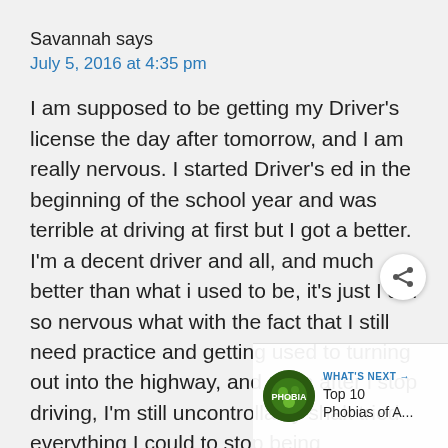Savannah says
July 5, 2016 at 4:35 pm
I am supposed to be getting my Driver’s license the day after tomorrow, and I am really nervous. I started Driver’s ed in the beginning of the school year and was terrible at driving at first but I got a better. I’m a decent driver and all, and much better than what i used to be, it’s just I am so nervous what with the fact that I still need practice and getting used to turning out into the highway, and even after i stop driving, I’m still uncontrollably shak tried everything I could to stop being